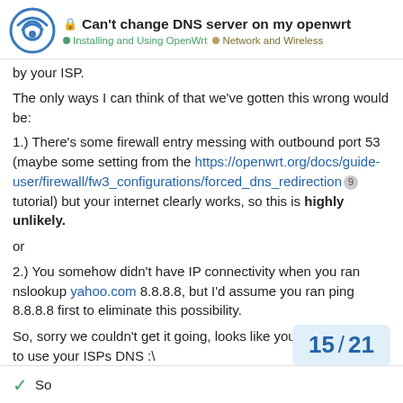Can't change DNS server on my openwrt | Installing and Using OpenWrt | Network and Wireless
by your ISP.
The only ways I can think of that we've gotten this wrong would be:
1.) There's some firewall entry messing with outbound port 53 (maybe some setting from the https://openwrt.org/docs/guide-user/firewall/fw3_configurations/forced_dns_redirection tutorial) but your internet clearly works, so this is highly unlikely.
or
2.) You somehow didn't have IP connectivity when you ran nslookup yahoo.com 8.8.8.8, but I'd assume you ran ping 8.8.8.8 first to eliminate this possibility.
So, sorry we couldn't get it going, looks like you may be forced to use your ISPs DNS :\
15 / 21